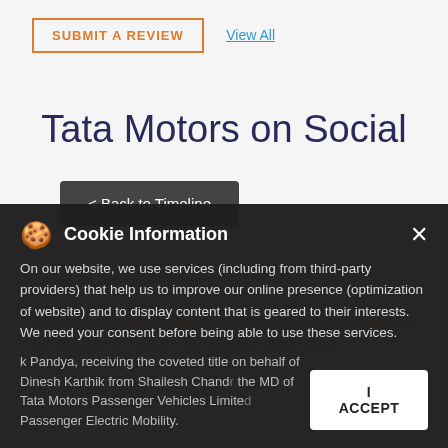SUBMIT A REVIEW   View All
Tata Motors on Social
< Back to Timeline
Cookie Information
On our website, we use services (including from third-party providers) that help us to improve our online presence (optimization of website) and to display content that is geared to their interests. We need your consent before being able to use these services.
I ACCEPT